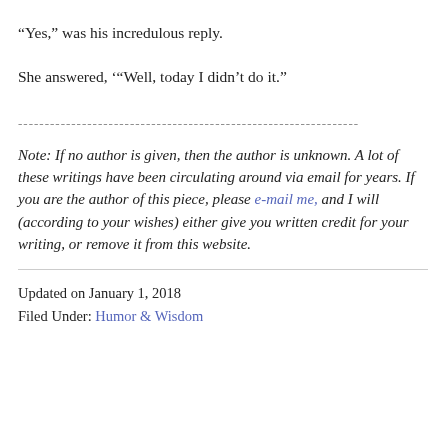“Yes,” was his incredulous reply.
She answered, ‘“Well, today I didn’t do it.”
----------------------------------------------------------------
Note: If no author is given, then the author is unknown. A lot of these writings have been circulating around via email for years. If you are the author of this piece, please e-mail me, and I will (according to your wishes) either give you written credit for your writing, or remove it from this website.
Updated on January 1, 2018
Filed Under: Humor & Wisdom